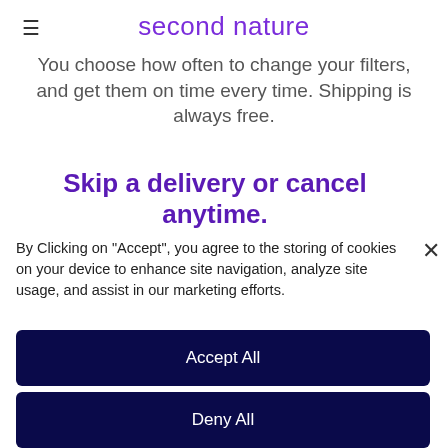second nature
You choose how often to change your filters, and get them on time every time. Shipping is always free.
Skip a delivery or cancel anytime.
By Clicking on "Accept", you agree to the storing of cookies on your device to enhance site navigation, analyze site usage, and assist in our marketing efforts.
Accept All
Deny All
Cookie Settings